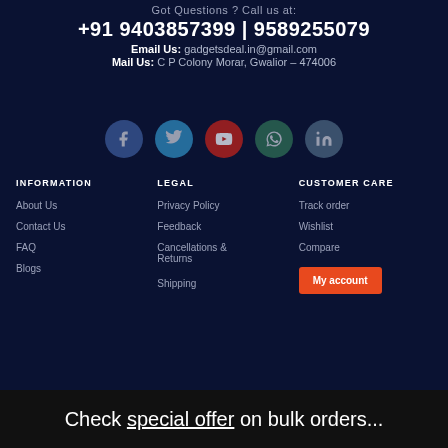Got Questions ? Call us at:
+91 9403857399 | 9589255079
Email Us: gadgetsdeal.in@gmail.com
Mail Us: C P Colony Morar, Gwalior – 474006
[Figure (infographic): Social media icons: Facebook, Twitter, YouTube, WhatsApp, LinkedIn]
INFORMATION
LEGAL
CUSTOMER CARE
About Us
Contact Us
FAQ
Blogs
Privacy Policy
Feedback
Cancellations & Returns
Shipping
Track order
Wishlist
Compare
My account
Check special offer on bulk orders...